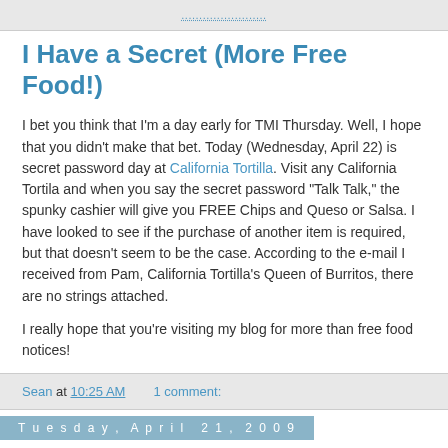........................
I Have a Secret (More Free Food!)
I bet you think that I'm a day early for TMI Thursday. Well, I hope that you didn't make that bet. Today (Wednesday, April 22) is secret password day at California Tortilla. Visit any California Tortila and when you say the secret password "Talk Talk," the spunky cashier will give you FREE Chips and Queso or Salsa. I have looked to see if the purchase of another item is required, but that doesn't seem to be the case. According to the e-mail I received from Pam, California Tortilla's Queen of Burritos, there are no strings attached.
I really hope that you're visiting my blog for more than free food notices!
Sean at 10:25 AM   1 comment:
Tuesday, April 21, 2009